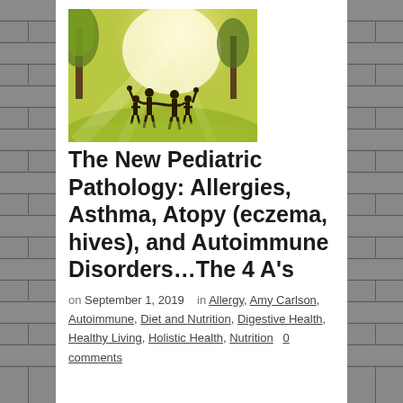[Figure (photo): Silhouettes of a family holding hands in a sunlit park with green trees and bright golden light]
The New Pediatric Pathology: Allergies, Asthma, Atopy (eczema, hives), and Autoimmune Disorders…The 4 A's
on September 1, 2019    in Allergy, Amy Carlson, Autoimmune, Diet and Nutrition, Digestive Health, Healthy Living, Holistic Health, Nutrition    0 comments